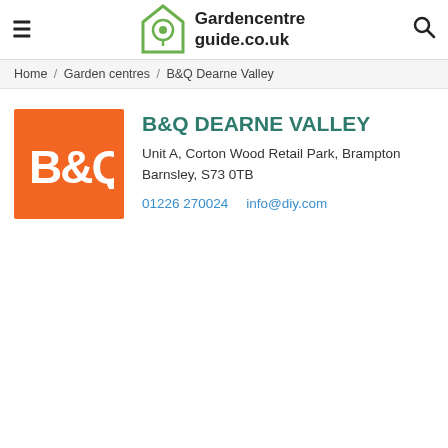Gardencentreguide.co.uk
Home / Garden centres / B&Q Dearne Valley
[Figure (logo): B&Q orange logo with white B&Q text]
B&Q DEARNE VALLEY
Unit A, Corton Wood Retail Park, Brampton
Barnsley, S73 0TB
01226 270024    info@diy.com